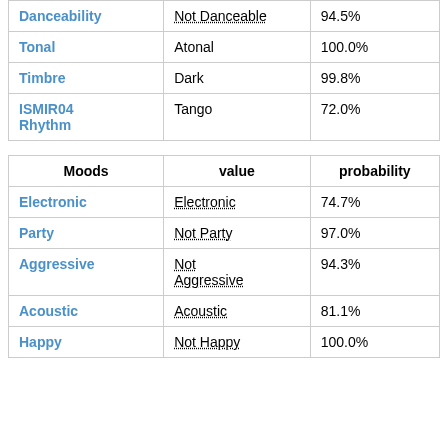| Danceability | Not Danceable | 94.5% |
| Tonal | Atonal | 100.0% |
| Timbre | Dark | 99.8% |
| ISMIR04 Rhythm | Tango | 72.0% |
| Moods | value | probability |
| --- | --- | --- |
| Electronic | Electronic | 74.7% |
| Party | Not Party | 97.0% |
| Aggressive | Not Aggressive | 94.3% |
| Acoustic | Acoustic | 81.1% |
| Happy | Not Happy | 100.0% |